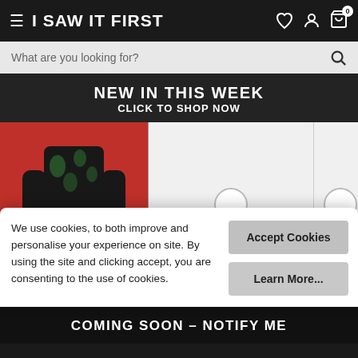I SAW IT FIRST
What are you looking for?
NEW IN THIS WEEK
CLICK TO SHOP NOW
[Figure (photo): Fashion photo showing a woman in a black lace outfit with green heels on a red background, crouching. To the right are two partially visible light grey product image placeholders with circular loading icons.]
We use cookies, to both improve and personalise your experience on site. By using the site and clicking accept, you are consenting to the use of cookies.
Accept Cookies
Learn More...
$23.0
Slinky
COMING SOON – NOTIFY ME